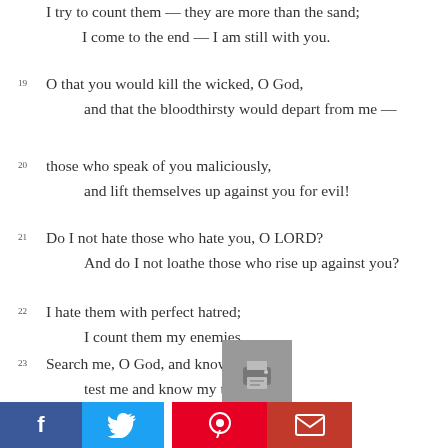I try to count them — they are more than the sand;
    I come to the end — I am still with you.
19 O that you would kill the wicked, O God,
    and that the bloodthirsty would depart from me —
20 those who speak of you maliciously,
    and lift themselves up against you for evil!
21 Do I not hate those who hate you, O LORD?
    And do I not loathe those who rise up against you?
22 I hate them with perfect hatred;
    I count them my enemies.
23 Search me, O God, and know my heart;
    test me and know my thoughts.
24 See if there is any wicked way in me,
    and lead me in the way everlasting.
[Figure (other): Social sharing footer bar with Facebook (blue), Twitter (blue), Pinterest (red), email icons, and a print button (gray)]